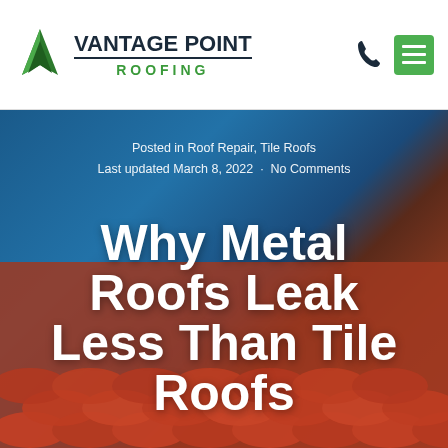[Figure (logo): Vantage Point Roofing logo with green V chevron and company name]
Posted in Roof Repair, Tile Roofs
Last updated March 8, 2022 · No Comments
Why Metal Roofs Leak Less Than Tile Roofs
[Figure (photo): Background hero image showing red tile roof with person's hands placing a tile, blue sky visible in upper right]